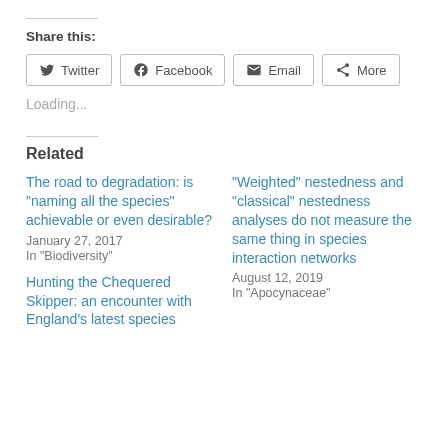Share this:
Twitter  Facebook  Email  More
Loading...
Related
The road to degradation: is “naming all the species” achievable or even desirable?
January 27, 2017
In "Biodiversity"
“Weighted” nestedness and “classical” nestedness analyses do not measure the same thing in species interaction networks
August 12, 2019
In "Apocynaceae"
Hunting the Chequered Skipper: an encounter with England’s latest species